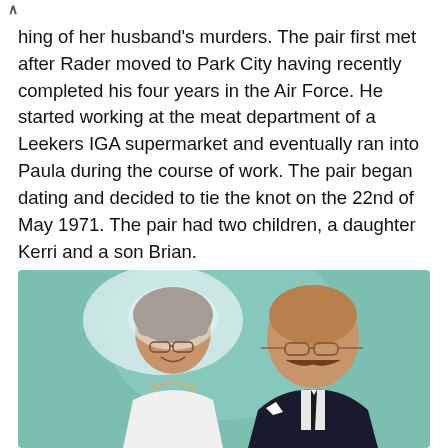hing of her husband's murders. The pair first met after Rader moved to Park City having recently completed his four years in the Air Force. He started working at the meat department of a Leekers IGA supermarket and eventually ran into Paula during the course of work. The pair began dating and decided to tie the knot on the 22nd of May 1971. The pair had two children, a daughter Kerri and a son Brian.
[Figure (photo): A wedding photo showing a young woman in a white bridal gown and veil with glasses, and an older bald man with glasses and a mustache wearing a dark suit with a white flower.]